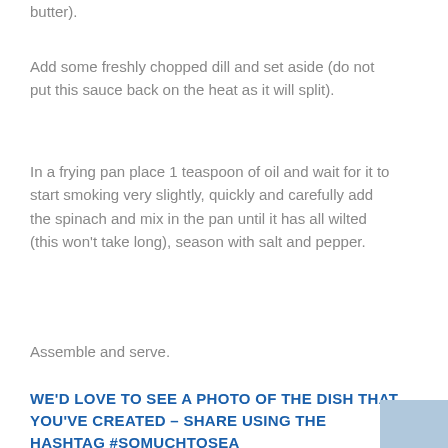butter).
Add some freshly chopped dill and set aside (do not put this sauce back on the heat as it will split).
In a frying pan place 1 teaspoon of oil and wait for it to start smoking very slightly, quickly and carefully add the spinach and mix in the pan until it has all wilted (this won’t take long), season with salt and pepper.
Assemble and serve.
WE’D LOVE TO SEE A PHOTO OF THE DISH THAT YOU’VE CREATED – SHARE USING THE HASHTAG #SOMUCHTOSEA